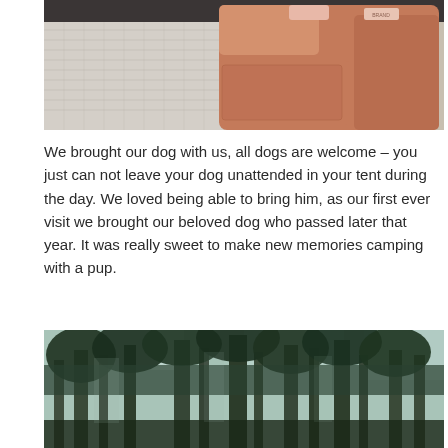[Figure (photo): A pink/terracotta canvas duffle bag sitting on a woven rug or blanket, with a vehicle interior visible in the background. The bag has buckle closures and a brand tag.]
We brought our dog with us, all dogs are welcome – you just can not leave your dog unattended in your tent during the day. We loved being able to bring him, as our first ever visit we brought our beloved dog who passed later that year. It was really sweet to make new memories camping with a pup.
[Figure (photo): A forest scene looking upward through tall evergreen trees with dense green foliage, lit by natural light through the canopy.]